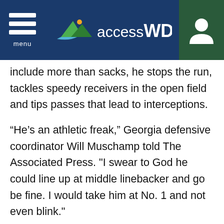accessWDUN
include more than sacks, he stops the run, tackles speedy receivers in the open field and tips passes that lead to interceptions.
“He’s an athletic freak,” Georgia defensive coordinator Will Muschamp told The Associated Press. "I swear to God he could line up at middle linebacker and go be fine. I would take him at No. 1 and not even blink."
The Jaguars did just that.
Once a two-sport star with NBA dreams at Upson-Lee High School in Thomaston, Georgia, Wall...